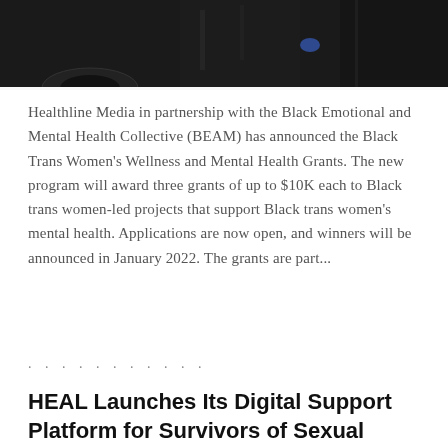[Figure (photo): Partial photograph showing dark clothing, a car wheel/tire, and what appears to be a person in dark attire, cropped at top]
Healthline Media in partnership with the Black Emotional and Mental Health Collective (BEAM) has announced the Black Trans Women's Wellness and Mental Health Grants. The new program will award three grants of up to $10K each to Black trans women-led projects that support Black trans women's mental health. Applications are now open, and winners will be announced in January 2022. The grants are part...
. . . . . . . . . . .
HEAL Launches Its Digital Support Platform for Survivors of Sexual Abuse